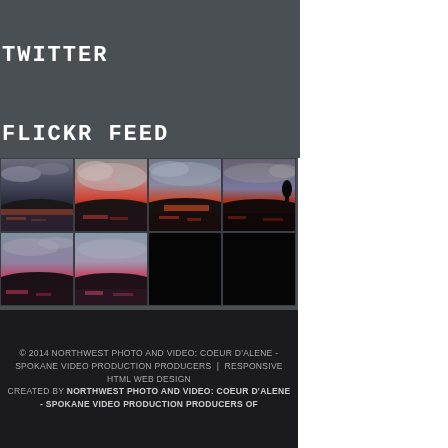TWITTER
FLICKR FEED
[Figure (photo): 2x4 grid of Flickr photo thumbnails showing sunset/twilight lake scenes with dramatic skies, silhouetted hills, and water reflections. Bottom-right two thumbnails are black/empty.]
© 2014 NORTHWEST PHOTO AND VIDEO: COEUR D'ALENE - SPOKANE VIDEO PRODUCTION PRODUCERS | RESPONSIVE HTML WEB DESIGN CREATED BY NORTHWEST PHOTO AND VIDEO: COEUR D'ALENE - SPOKANE VIDEO PRODUCTION PRODUCERS OF